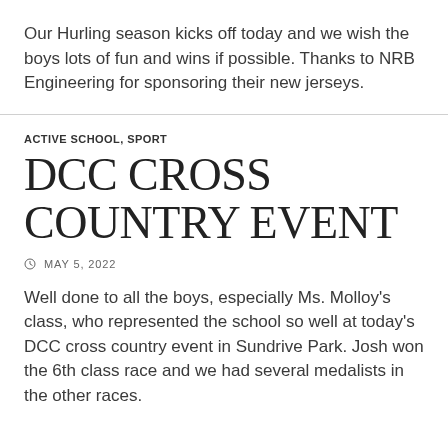Our Hurling season kicks off today and we wish the boys lots of fun and wins if possible. Thanks to NRB Engineering for sponsoring their new jerseys.
ACTIVE SCHOOL, SPORT
DCC CROSS COUNTRY EVENT
MAY 5, 2022
Well done to all the boys, especially Ms. Molloy's class, who represented the school so well at today's DCC cross country event in Sundrive Park. Josh won the 6th class race and we had several medalists in the other races.